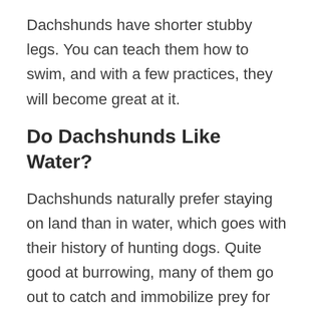Dachshunds have shorter stubby legs. You can teach them how to swim, and with a few practices, they will become great at it.
Do Dachshunds Like Water?
Dachshunds naturally prefer staying on land than in water, which goes with their history of hunting dogs. Quite good at burrowing, many of them go out to catch and immobilize prey for the hunter.
So if you find your dog burrowing around looking for some rats around, you...